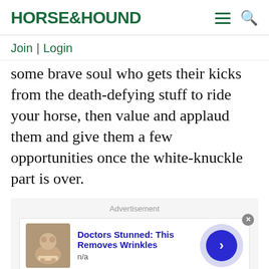HORSE&HOUND
Join | Login
some brave soul who gets their kicks from the death-defying stuff to ride your horse, then value and applaud them and give them a few opportunities once the white-knuckle part is over.
[Figure (infographic): Advertisement unit with headline 'Doctors Stunned: This Removes Wrinkles', source 'n/a', thumbnail image, and arrow button]
Advertisement